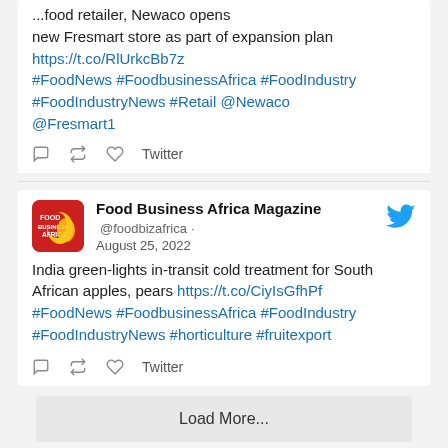...food retailer, Newaco opens new Fresmart store as part of expansion plan https://t.co/RlUrkcBb7z #FoodNews #FoodbusinessAfrica #FoodIndustry #FoodIndustryNews #Retail @Newaco @Fresmart1
reply retweet like Twitter
Food Business Africa Magazine @foodbizafrica · August 25, 2022
India green-lights in-transit cold treatment for South African apples, pears https://t.co/CiyIsGfhPf #FoodNews #FoodbusinessAfrica #FoodIndustry #FoodIndustryNews #horticulture #fruitexport
reply retweet like Twitter
Load More...
NEWS ARCHIVES